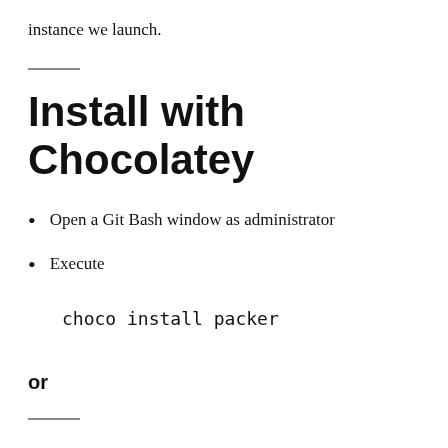instance we launch.
Install with Chocolatey
Open a Git Bash window as administrator
Execute
choco install packer
or